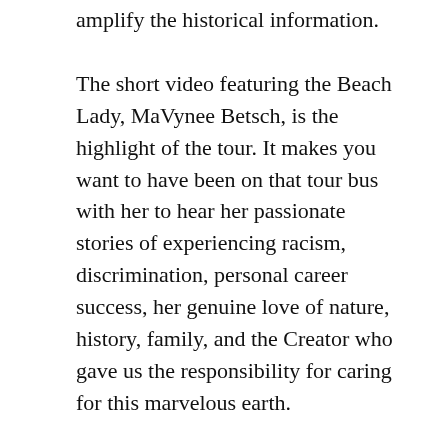amplify the historical information.
The short video featuring the Beach Lady, MaVynee Betsch, is the highlight of the tour. It makes you want to have been on that tour bus with her to hear her passionate stories of experiencing racism, discrimination, personal career success, her genuine love of nature, history, family, and the Creator who gave us the responsibility for caring for this marvelous earth.
In her case, the Beach Lady cut short a lucrative and professionally successful career as an opera singer in Europe to return to her beloved American Beach to ensure its preservation. She